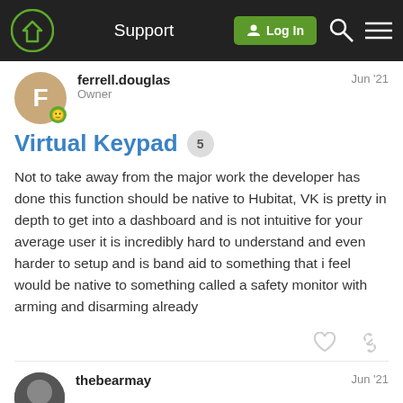Support | Log In
ferrell.douglas
Owner
Jun '21
Virtual Keypad 5
Not to take away from the major work the developer has done this function should be native to Hubitat, VK is pretty in depth to get into a dashboard and is not intuitive for your average user it is incredibly hard to understand and even harder to setup and is band aid to something that i feel would be native to something called a safety monitor with arming and disarming already
thebearmay
Jun '21
2/6